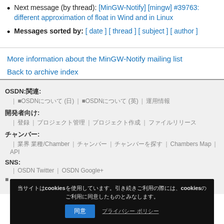Next message (by thread): [MinGW-Notify] [mingw] #39763: different approximation of float in Wind and in Linux
Messages sorted by: [ date ] [ thread ] [ subject ] [ author ]
More information about the MinGW-Notify mailing list
Back to archive index
OSDN:関連: | OSDNについて (日) | OSDNについて (英) | 運用情報
開発者向け: | 登録 | プロジェクト管理 | プロジェクト作成 | ファイルリリース
チャンバー: | 業界 業種/Chamber | チャンバー | チャンバーを探す | Chambers Map | API
SNS: | OSDN Twitter | OSDN Google+
当サイトはcookiesを使用しています。引き続きご利用の際には、cookiesのご利用に同意したものとみなします。
Copyright © Appnits, Inc.